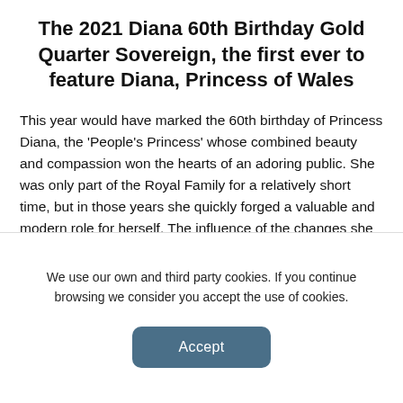The 2021 Diana 60th Birthday Gold Quarter Sovereign, the first ever to feature Diana, Princess of Wales
This year would have marked the 60th birthday of Princess Diana, the ‘People’s Princess’ whose combined beauty and compassion won the hearts of an adoring public. She was only part of the Royal Family for a relatively short time, but in those years she quickly forged a valuable and modern role for herself. The influence of the changes she made continues to be felt even today, many years after her sudden and very tragic death.
Millions still cherish the memory of Diana
We use our own and third party cookies. If you continue browsing we consider you accept the use of cookies.